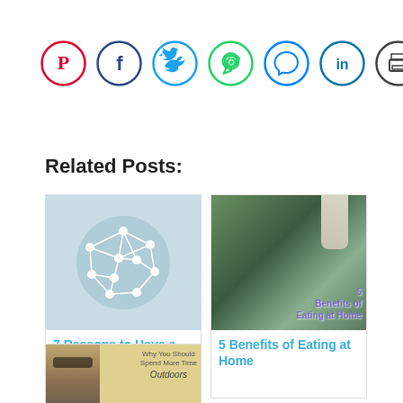[Figure (infographic): Social sharing bar with 7 circular icon buttons: Pinterest (red), Facebook (dark blue), Twitter (light blue), WhatsApp (green), Messenger (blue), LinkedIn (teal blue), Print (dark gray)]
Related Posts:
[Figure (illustration): Card thumbnail: light blue circle with white geometric network/mesh icon]
7 Reasons to Have a
[Figure (photo): Card thumbnail: food photo with kale/greens, cream sauce being poured, text overlay '5 Benefits of Eating at Home']
5 Benefits of Eating at Home
[Figure (photo): Card thumbnail: person with sunglasses outdoors, text overlay 'Why You Should Spend More Time Outdoors']